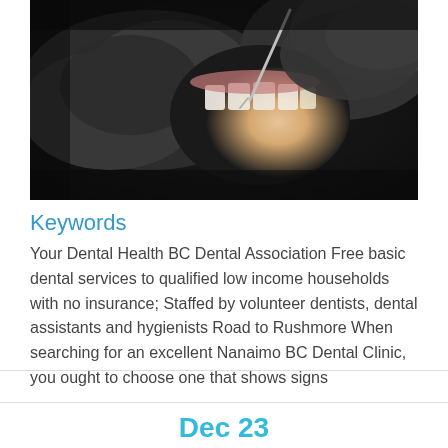[Figure (photo): Close-up photo of a dental procedure: gloved hands (dark grey gloves) using dental instruments inside a patient's open mouth, teeth visible, dark background]
Keywords
Your Dental Health BC Dental Association Free basic dental services to qualified low income households with no insurance; Staffed by volunteer dentists, dental assistants and hygienists Road to Rushmore When searching for an excellent Nanaimo BC Dental Clinic, you ought to choose one that shows signs
Dec 23